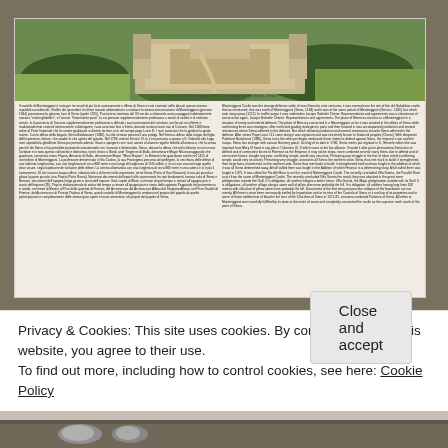[Figure (photo): Photograph of an informational display board about Monteriggioni castle, showing an aerial photo of the castle at the top and dense Italian and English text in two columns below, mounted on a wall.]
Privacy & Cookies: This site uses cookies. By continuing to use this website, you agree to their use.
To find out more, including how to control cookies, see here: Cookie Policy
Close and accept
[Figure (photo): Bottom portion of another photograph visible at the very bottom of the page, showing metallic objects.]